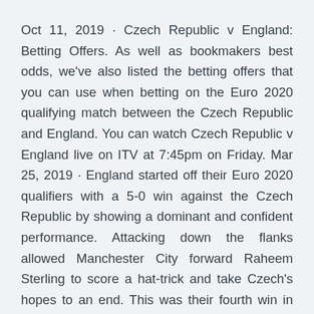Oct 11, 2019 · Czech Republic v England: Betting Offers. As well as bookmakers best odds, we've also listed the betting offers that you can use when betting on the Euro 2020 qualifying match between the Czech Republic and England. You can watch Czech Republic v England live on ITV at 7:45pm on Friday. Mar 25, 2019 · England started off their Euro 2020 qualifiers with a 5-0 win against the Czech Republic by showing a dominant and confident performance. Attacking down the flanks allowed Manchester City forward Raheem Sterling to score a hat-trick and take Czech's hopes to an end. This was their fourth win in the last five games.
Mar 22, 2019 · England vs Czech Republic live streaming & live